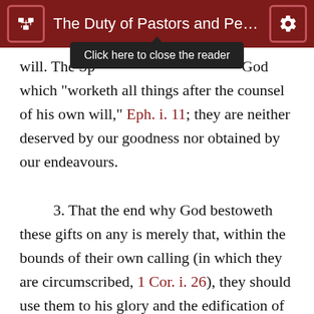The Duty of Pastors and Peop...
will. The Spirit of God which "worketh all things after the counsel of his own will," Eph. i. 11; they are neither deserved by our goodness nor obtained by our endeavours. 3. That the end why God bestoweth these gifts on any is merely that, within the bounds of their own calling (in which they are circumscribed, 1 Cor. i. 26), they should use them to his glory and the edification of his church; for "the manifestation of the Spirit is given to every man to profit withal," 1 Cor. xii. 7. Christ gives none of his talents to be bound up in napkins, but expects his own with